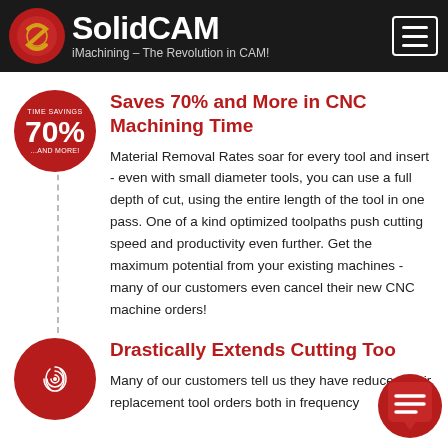[Figure (logo): SolidCAM logo with red/gold circular icon and text 'SolidCAM iMachining – The Revolution in CAM!' on dark background]
Saves 70% and More in CNC Machining Time
Material Removal Rates soar for every tool and insert - even with small diameter tools, you can use a full depth of cut, using the entire length of the tool in one pass. One of a kind optimized toolpaths push cutting speed and productivity even further. Get the maximum potential from your existing machines - many of our customers even cancel their new CNC machine orders!
Drastically Extends Cutting Too
Many of our customers tell us they have reduced their replacement tool orders both in frequency